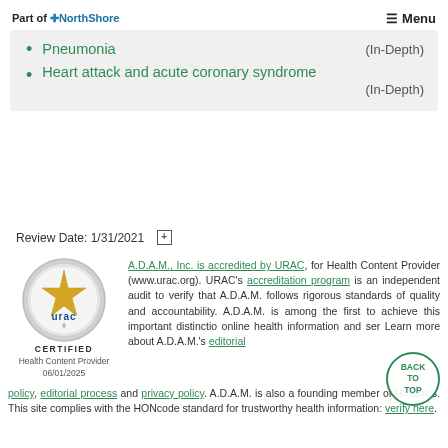Part of NorthShore   ≡ Menu
Pneumonia (In-Depth)
Heart attack and acute coronary syndrome (In-Depth)
Review Date: 1/31/2021
[Figure (logo): URAC accreditation seal - circular badge with star, text URAC CERTIFIED, Health Content Provider 06/01/2025]
A.D.A.M., Inc. is accredited by URAC, for Health Content Provider (www.urac.org). URAC's accreditation program is an independent audit to verify that A.D.A.M. follows rigorous standards of quality and accountability. A.D.A.M. is among the first to achieve this important distinction for online health information and services. Learn more about A.D.A.M.'s editorial policy, editorial process and privacy policy. A.D.A.M. is also a founding member of Hi-Ethics. This site complies with the HONcode standard for trustworthy health information: verify here.